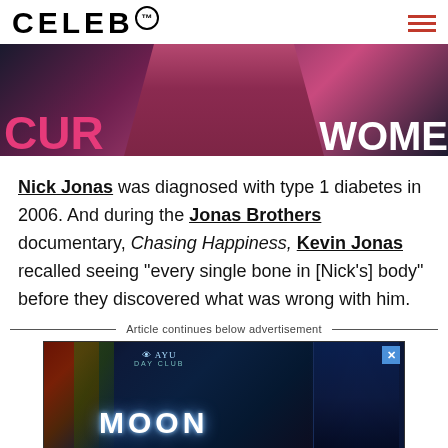CELEB™
[Figure (photo): Photo of a man in a pink/magenta suit at an event, with partial text 'CUR' and 'WOME' visible on a dark background banner]
Nick Jonas was diagnosed with type 1 diabetes in 2006. And during the Jonas Brothers documentary, Chasing Happiness, Kevin Jonas recalled seeing "every single bone in [Nick's] body" before they discovered what was wrong with him.
Article continues below advertisement
[Figure (photo): Advertisement banner for 'AYU Day Club' featuring Moon event, with a person with blue-lit face and decorative foliage elements]